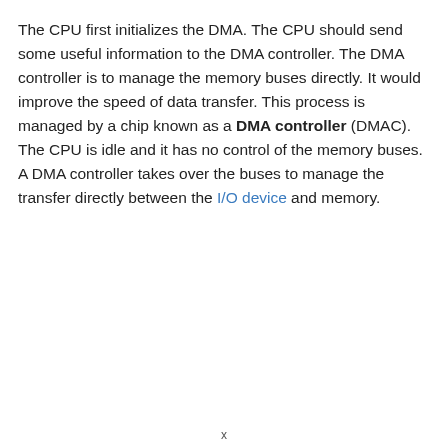The CPU first initializes the DMA. The CPU should send some useful information to the DMA controller. The DMA controller is to manage the memory buses directly. It would improve the speed of data transfer. This process is managed by a chip known as a DMA controller (DMAC). The CPU is idle and it has no control of the memory buses. A DMA controller takes over the buses to manage the transfer directly between the I/O device and memory.